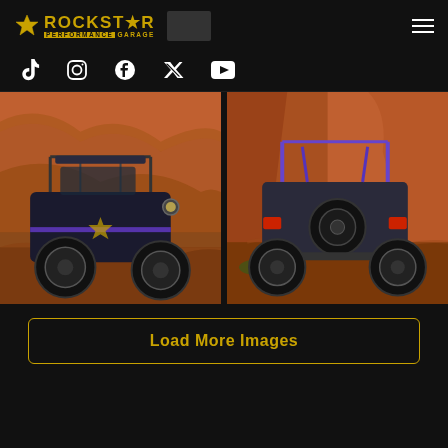ROCKSTAR PERFORMANCE GARAGE
[Figure (screenshot): Social media icons row: TikTok, Instagram, Facebook, Twitter/X, YouTube]
[Figure (photo): Left photo: Off-road Jeep/buggy with purple accents climbing red rock terrain in desert]
[Figure (photo): Right photo: Off-road Jeep with purple roll cage driving on red rock desert, rear view]
Load More Images